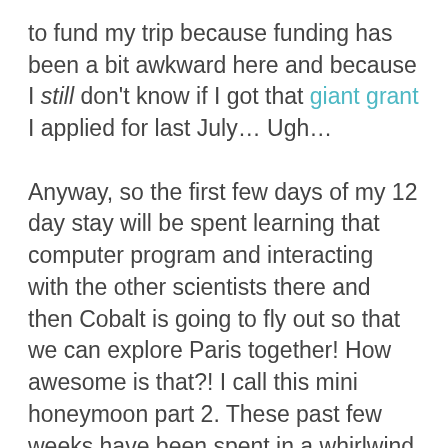to fund my trip because funding has been a bit awkward here and because I still don't know if I got that giant grant I applied for last July… Ugh…

Anyway, so the first few days of my 12 day stay will be spent learning that computer program and interacting with the other scientists there and then Cobalt is going to fly out so that we can explore Paris together! How awesome is that?! I call this mini honeymoon part 2. These past few weeks have been spent in a whirlwind getting Cobalt a passport and figuring out the necessary supplies for our trip… how exciting!!! Looks like my French for travelers class and my obsession with listening to French rap music at work will pay off after all! :):) I have to admit though that I am kind of nervous too. I've been to Canada before and allllll over the US but I've never been anywhere else. Crazy nerves and excitement